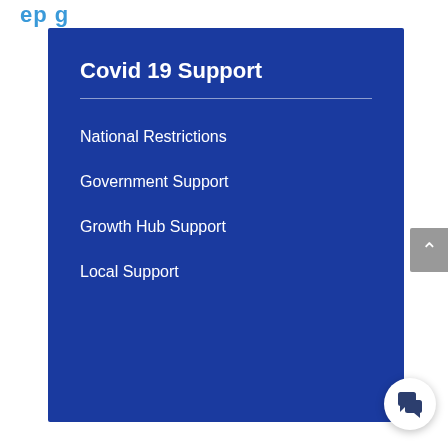ep g
Covid 19 Support
National Restrictions
Government Support
Growth Hub Support
Local Support